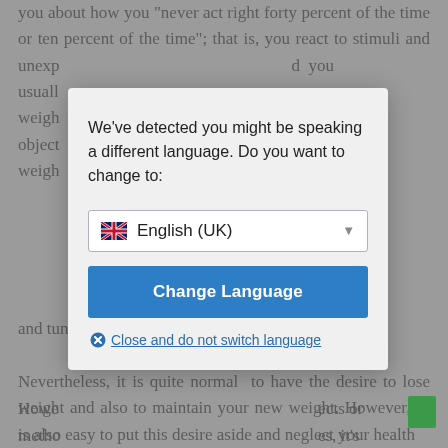you about how you "never act right forty percent of the time or ten percent of the time"; that is, you react to stimuli and unexpectedly... if you usually... excess weight... shiny objects... eatest weight...
[Figure (screenshot): Language selection modal dialog box on a webpage. Contains message 'We've detected you might be speaking a different language. Do you want to change to:' with a dropdown showing 'English (UK)' with UK flag, a blue 'Change Language' button, and a 'Close and do not switch language' link with X icon.]
However... ects or methods... es, it's true t... from unwa... nother, your s... cases, howev... selves, turning... trying and tuning out the message, and so on.
Nevertheless, it is quite normal to have the desire to lose weight and also to maintain your new weight. However, it is also easy to put this desire aside and neglect your health